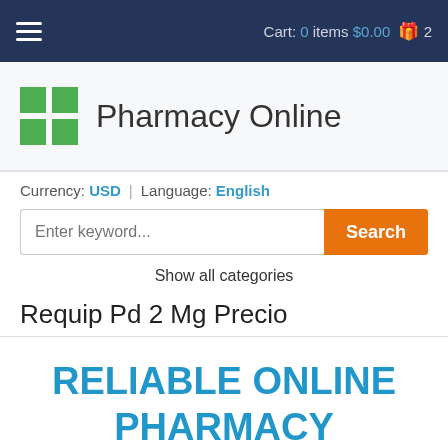Cart: 0 items $0.00 2
Pharmacy Online
Currency: USD | Language: English
Enter keyword... Search
Show all categories
Requip Pd 2 Mg Precio
RELIABLE ONLINE PHARMACY
> Click here to order now